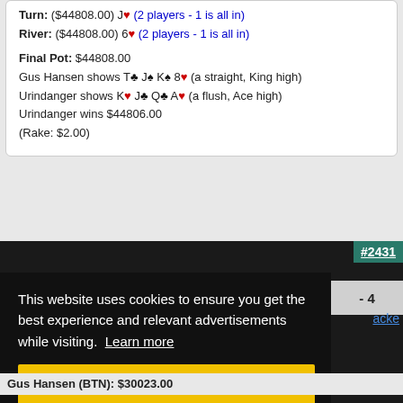Turn: ($44808.00) J♥ (2 players - 1 is all in)
River: ($44808.00) 6♥ (2 players - 1 is all in)
Final Pot: $44808.00
Gus Hansen shows T♣ J♠ K♠ 8♥ (a straight, King high)
Urindanger shows K♥ J♣ Q♣ A♥ (a flush, Ace high)
Urindanger wins $44806.00
(Rake: $2.00)
#2431
- 4
acke
This website uses cookies to ensure you get the best experience and relevant advertisements while visiting. Learn more
Got it!
Gus Hansen (BTN): $30023.00